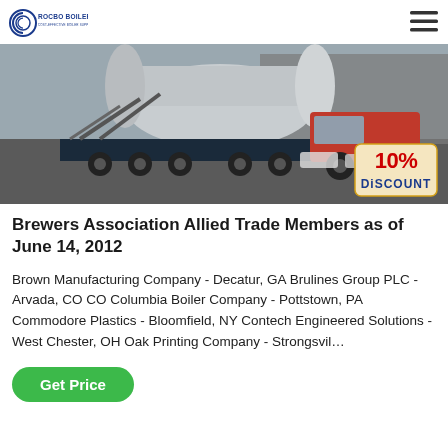ROCBO BOILER - COST-EFFECTIVE BOILER SUPPLIER
[Figure (photo): A large industrial boiler vessel being transported on a flatbed truck, with a red truck cab visible. A '10% DISCOUNT' badge appears in the bottom right corner of the image.]
Brewers Association Allied Trade Members as of June 14, 2012
Brown Manufacturing Company - Decatur, GA Brulines Group PLC - Arvada, CO CO Columbia Boiler Company - Pottstown, PA Commodore Plastics - Bloomfield, NY Contech Engineered Solutions - West Chester, OH Oak Printing Company - Strongsvil…
Get Price